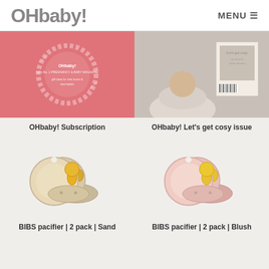OHbaby! MENU
[Figure (photo): Pink OHbaby! magazine subscription cover with flower/cloud motif]
OHbaby! Subscription
[Figure (photo): OHbaby! Let's get cosy issue magazine cover with baby in cosy setting]
OHbaby! Let's get cosy issue
[Figure (photo): BIBS pacifier 2 pack in Sand color - two round pacifiers with yellow nipples]
BIBS pacifier | 2 pack | Sand
[Figure (photo): BIBS pacifier 2 pack in Blush color - two round pacifiers with yellow nipples]
BIBS pacifier | 2 pack | Blush